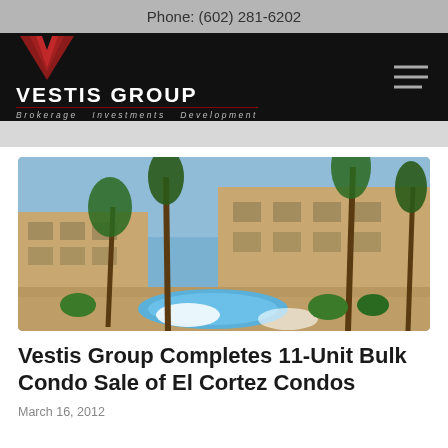Phone: (602) 281-6202
[Figure (logo): Vestis Group logo with red V chevron and text 'Vestis Group Brokerage Investments Development' on black background]
[Figure (photo): Aerial view of El Cortez Condos showing pool area surrounded by palm trees and tan multi-story condominium buildings]
Vestis Group Completes 11-Unit Bulk Condo Sale of El Cortez Condos
March 16, 2012